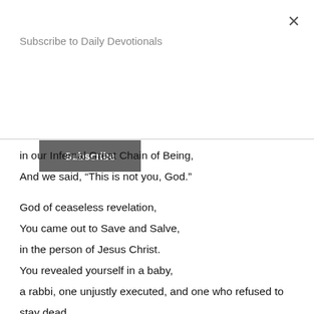Subscribe to Daily Devotionals
in our Infernal Great Chain of Being,
And we said, “This is not you, God.”
God of ceaseless revelation,
You came out to Save and Salve,
in the person of Jesus Christ.
You revealed yourself in a baby,
a rabbi, one unjustly executed, and one who refused to stay dead.
You revealed you are in solidarity with all those persecuted
All those beaten and left to die on the side of a road
or tied to a fence,